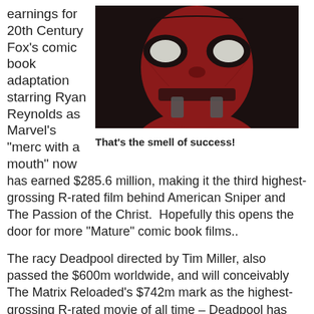earnings for 20th Century Fox's comic book adaptation starring Ryan Reynolds as Marvel's “merc with a mouth” now
[Figure (photo): Close-up photograph of Deadpool's red and black mask with white eye lenses]
That's the smell of success!
has earned $285.6 million, making it the third highest-grossing R-rated film behind American Sniper and The Passion of the Christ. Hopefully this opens the door for more “Mature” comic book films..
The racy Deadpool directed by Tim Miller, also passed the $600m worldwide, and will conceivably The Matrix Reloaded’s $742m mark as the highest-grossing R-rated movie of all time – Deadpool has currently earned $609.8 million.